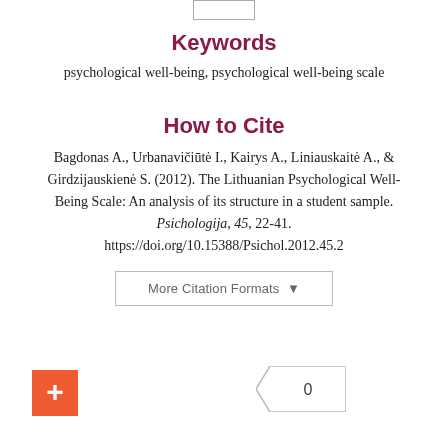Keywords
psychological well-being, psychological well-being scale
How to Cite
Bagdonas A., Urbanavičiūtė I., Kairys A., Liniauskaitė A., & Girdzijauskienė S. (2012). The Lithuanian Psychological Well-Being Scale: An analysis of its structure in a student sample. Psichologija, 45, 22-41. https://doi.org/10.15388/Psichol.2012.45.2